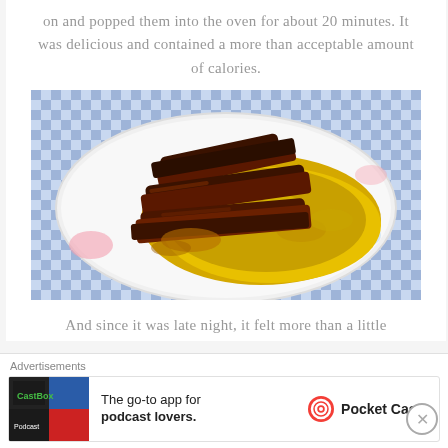on and popped them into the oven for about 20 minutes. It was delicious and contained a more than acceptable amount of calories.
[Figure (photo): A plate of grilled meat strips (bacon or ribs) served on top of yellow scrambled eggs on a floral-patterned plate, with a blue checkered tablecloth background.]
And since it was late night, it felt more than a little
Advertisements
[Figure (infographic): Advertisement banner for Pocket Casts app. Shows app logo on left, text 'The go-to app for podcast lovers.' in center, Pocket Casts logo and name on right.]